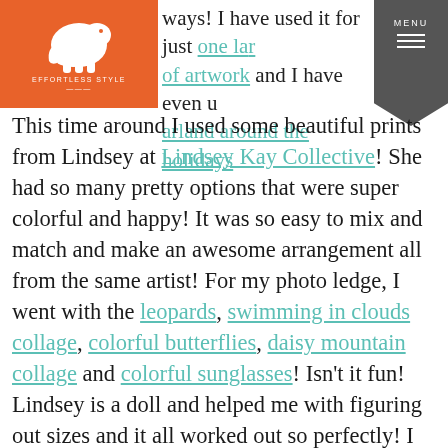ways! I have used it for just one la... of artwork and I have even u... arland around the holidays
This time around I used some beautiful prints from Lindsey at Lindsey Kay Collective! She had so many pretty options that were super colorful and happy! It was so easy to mix and match and make an awesome arrangement all from the same artist! For my photo ledge, I went with the leopards, swimming in clouds collage, colorful butterflies, daisy mountain collage and colorful sunglasses! Isn't it fun! Lindsey is a doll and helped me with figuring out sizes and it all worked out so perfectly! I know I picked out very colorful pieces,